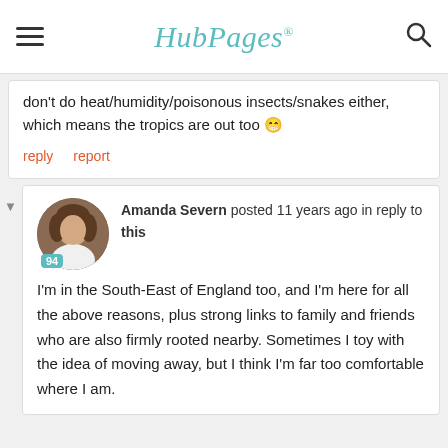HubPages
don't do heat/humidity/poisonous insects/snakes either, which means the tropics are out too 😁
reply   report
Amanda Severn posted 11 years ago in reply to this
I'm in the South-East of England too, and I'm here for all the above reasons, plus strong links to family and friends who are also firmly rooted nearby. Sometimes I toy with the idea of moving away, but I think I'm far too comfortable where I am.